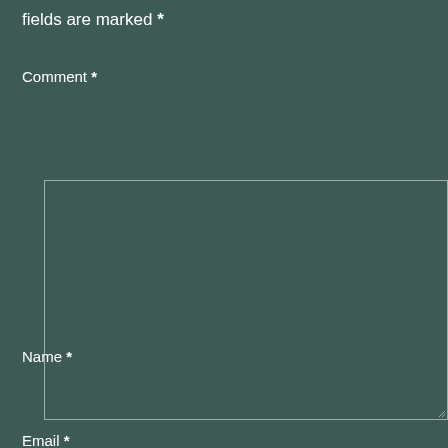fields are marked *
Comment *
[Figure (screenshot): Empty comment textarea input field with resize handle in bottom-right corner]
Name *
[Figure (screenshot): Empty name text input field]
Email *
[Figure (screenshot): Partial empty email text input field at bottom of page]